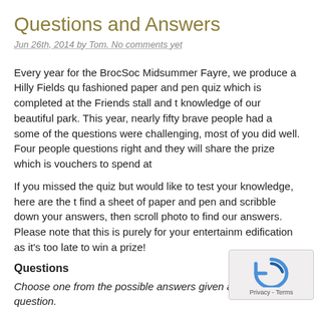Questions and Answers
Jun 26th, 2014 by Tom. No comments yet
Every year for the BrocSoc Midsummer Fayre, we produce a Hilly Fields qu… fashioned paper and pen quiz which is completed at the Friends stall and t… knowledge of our beautiful park.  This year, nearly fifty brave people had a… some of the questions were challenging, most of you did well. Four people… questions right and they will share the prize which is vouchers to spend at …
If you missed the quiz but would like to test your knowledge, here are the t… find a sheet of paper and pen and scribble down your answers, then scroll… photo to find our answers. Please note that this is purely for your entertain… edification as it's too late to win a prize!
Questions
Choose one from the possible answers given after each question.
1.  Which social reformer (with an appropriate surname) helped save Hillv F… development in the 1890s?
Answer: a. Octavia Hill; b. Margaret McMillan; c. Emmeline Pa…